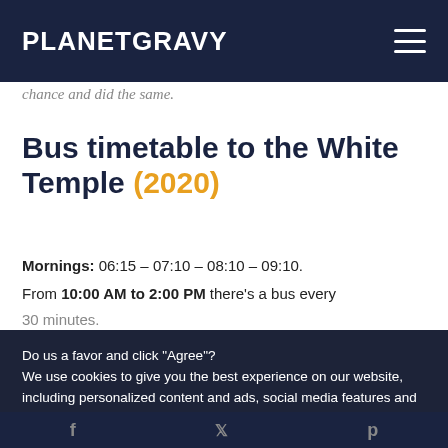PLANETGRAVY
chance and did the same.
Bus timetable to the White Temple (2020)
Mornings: 06:15 – 07:10 – 08:10 – 09:10.
From 10:00 AM to 2:00 PM there's a bus every 30 minutes.
Do us a favor and click "Agree"?
We use cookies to give you the best experience on our website, including personalized content and ads, social media features and to analyze traffic.
Privacy Preferences
I Agree